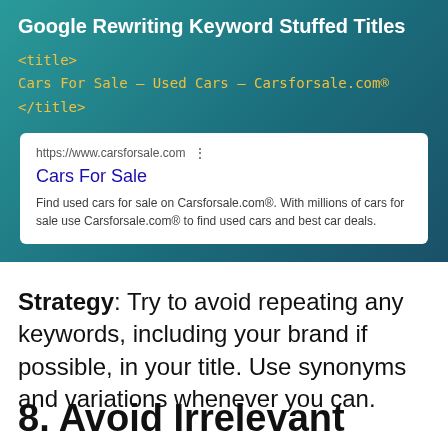Google Rewriting Keyword Stuffed Titles
<title>
Cars For Sale - Used Cars - Carsforsale.com®
</title>
[Figure (screenshot): Google SERP snippet showing 'Cars For Sale' result from https://www.carsforsale.com with description about finding used cars]
Strategy: Try to avoid repeating any keywords, including your brand if possible, in your title. Use synonyms and variations whenever you can.
8. Avoid Irrelevant